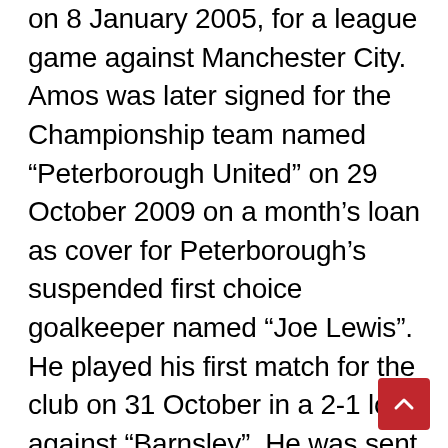on 8 January 2005, for a league game against Manchester City. Amos was later signed for the Championship team named “Peterborough United” on 29 October 2009 on a month’s loan as cover for Peterborough’s suspended first choice goalkeeper named “Joe Lewis”. He played his first match for the club on 31 October in a 2-1 loss against “Barnsley”. He was sent out on a loan in March 2010 after returning to Manchester United, this time to Marwegian side named “Molde FK”. He played for the club until 30 June 2010. He played for the Manchester United during the 2011-12 season in the third round League Cup tie at Elland Road against Leeds United. He also played for the club such